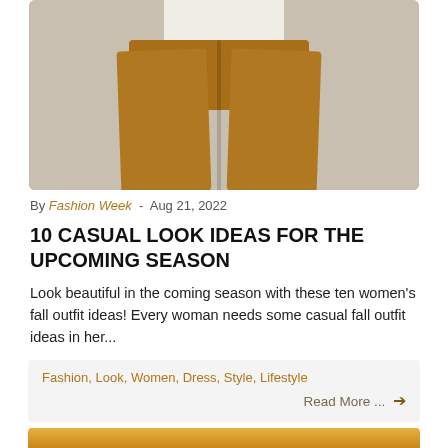[Figure (photo): Photo of a person wearing mustard/golden wide-leg trousers and a white top, cropped at the waist, against a light beige background]
By Fashion Week - Aug 21, 2022
10 CASUAL LOOK IDEAS FOR THE UPCOMING SEASON
Look beautiful in the coming season with these ten women's fall outfit ideas! Every woman needs some casual fall outfit ideas in her...
Fashion, Look, Women, Dress, Style, Lifestyle
Read More ...  →
[Figure (photo): Bottom partial image with warm golden/orange tones, appears to be a sunset or landscape photo, partially visible]